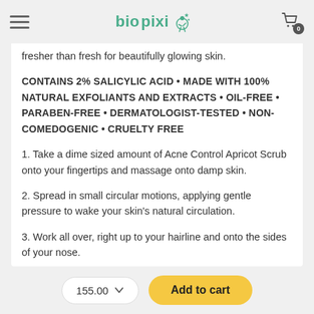biopixi
fresher than fresh for beautifully glowing skin.
CONTAINS 2% SALICYLIC ACID • MADE WITH 100% NATURAL EXFOLIANTS AND EXTRACTS • OIL-FREE • PARABEN-FREE • DERMATOLOGIST-TESTED • NON-COMEDOGENIC • CRUELTY FREE
1. Take a dime sized amount of Acne Control Apricot Scrub onto your fingertips and massage onto damp skin.
2. Spread in small circular motions, applying gentle pressure to wake your skin's natural circulation.
3. Work all over, right up to your hairline and onto the sides of your nose.
155.00  Add to cart